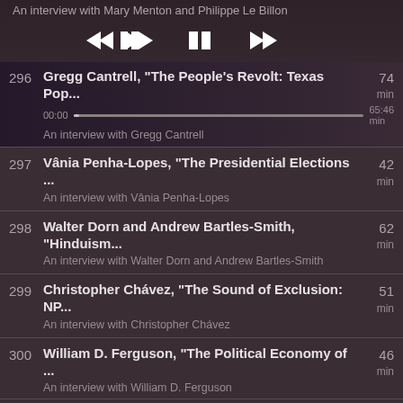An interview with Mary Menton and Philippe Le Billon
[Figure (other): Media playback controls: rewind (◄◄), pause (▐▐), fast forward (►►)]
296 | Gregg Cantrell, "The People's Revolt: Texas Pop... | 74 min | 00:00 ... 65:46 | An interview with Gregg Cantrell
297 | Vânia Penha-Lopes, "The Presidential Elections ... | 42 min | An interview with Vânia Penha-Lopes
298 | Walter Dorn and Andrew Bartles-Smith, "Hinduism... | 62 min | An interview with Walter Dorn and Andrew Bartles-Smith
299 | Christopher Chávez, "The Sound of Exclusion: NP... | 51 min | An interview with Christopher Chávez
300 | William D. Ferguson, "The Political Economy of ... | 46 min | An interview with William D. Ferguson
« First ‹ Prev 1 2 3 4 5 6 7 … Next › Last »